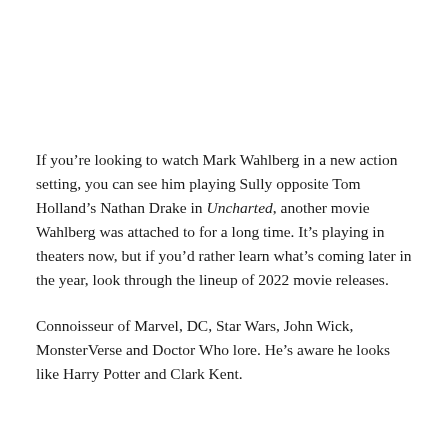If you're looking to watch Mark Wahlberg in a new action setting, you can see him playing Sully opposite Tom Holland's Nathan Drake in Uncharted, another movie Wahlberg was attached to for a long time. It's playing in theaters now, but if you'd rather learn what's coming later in the year, look through the lineup of 2022 movie releases.
Connoisseur of Marvel, DC, Star Wars, John Wick, MonsterVerse and Doctor Who lore. He's aware he looks like Harry Potter and Clark Kent.